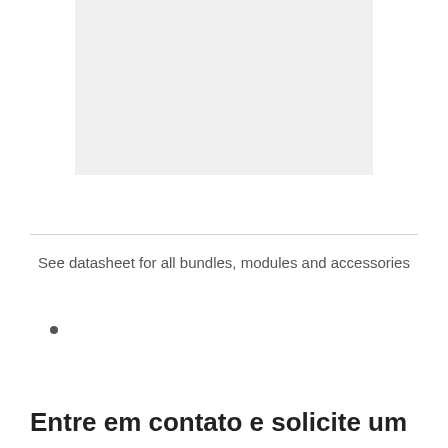[Figure (other): Light gray placeholder image area at top of page]
See datasheet for all bundles, modules and accessories
•
Entre em contato e solicite um